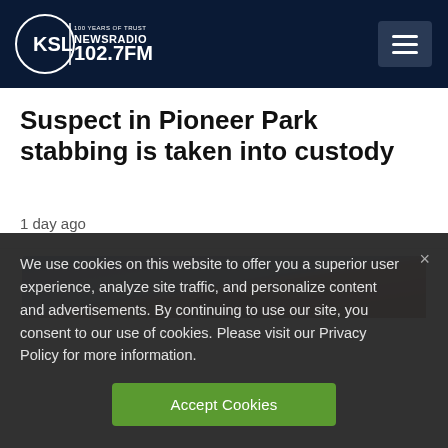KSL NewsRadio 102.7FM
Suspect in Pioneer Park stabbing is taken into custody
1 day ago
[Figure (photo): Partial view of a person, partially visible at bottom of article area]
We use cookies on this website to offer you a superior user experience, analyze site traffic, and personalize content and advertisements. By continuing to use our site, you consent to our use of cookies. Please visit our Privacy Policy for more information.
Accept Cookies